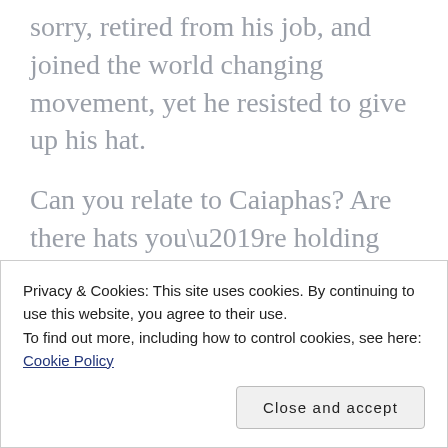sorry, retired from his job, and joined the world changing movement, yet he resisted to give up his hat.
Can you relate to Caiaphas? Are there hats you’re holding onto? Generally, your greatest regrets are connected to attempts to preserve something that isn’t even a part of your life anymore. Pressure to preserve or prop it up will eventually
Privacy & Cookies: This site uses cookies. By continuing to use this website, you agree to their use.
To find out more, including how to control cookies, see here: Cookie Policy
Close and accept